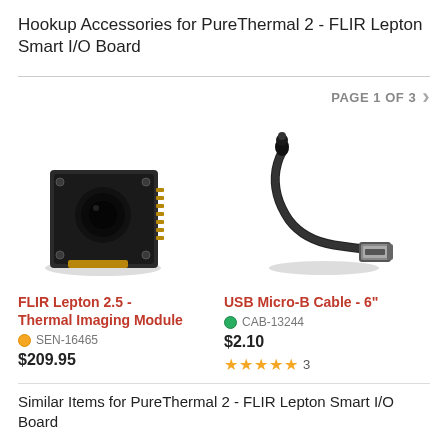Hookup Accessories for PureThermal 2 - FLIR Lepton Smart I/O Board
PAGE 1 OF 3
[Figure (photo): FLIR Lepton 2.5 thermal imaging module - small black square circuit board with lens]
FLIR Lepton 2.5 - Thermal Imaging Module
SEN-16465
$209.95
[Figure (photo): USB Micro-B Cable 6 inch - black cable with USB-A connector]
USB Micro-B Cable - 6"
CAB-13244
$2.10
3 reviews, 5 stars
Similar Items for PureThermal 2 - FLIR Lepton Smart I/O Board